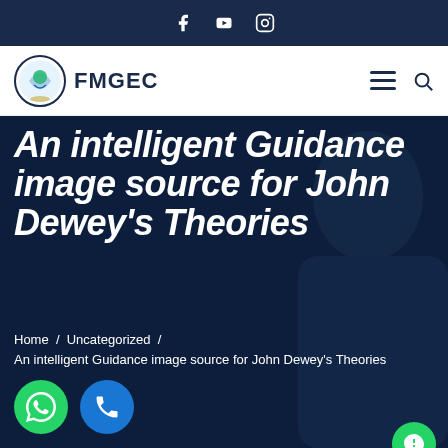Social media icons: Facebook, YouTube, Instagram
[Figure (logo): FMGEC organization logo with nav bar showing hamburger menu and search icon]
An intelligent Guidance image source for John Dewey’s Theories
Home / Uncategorized /
An intelligent Guidance image source for John Dewey’s Theories
[Figure (other): WhatsApp green call button and blue phone button icons at bottom left; green chat bubble at bottom right]